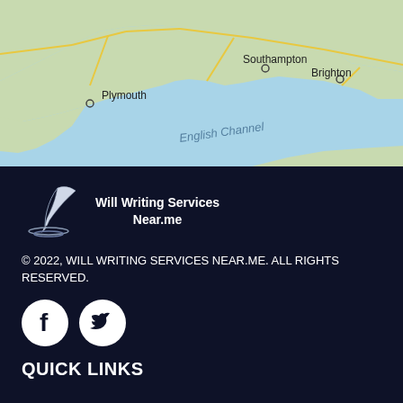[Figure (map): Map showing southern England coast including Plymouth, Southampton, Brighton, and the English Channel]
[Figure (logo): Will Writing Services Near.me logo with quill pen icon]
© 2022, WILL WRITING SERVICES NEAR.ME. ALL RIGHTS RESERVED.
[Figure (other): Facebook and Twitter social media icons in white circles on dark background]
QUICK LINKS